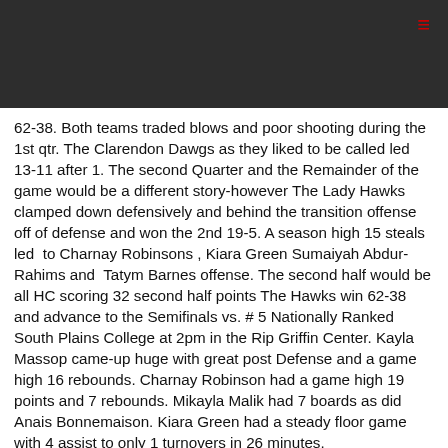62-38. Both teams traded blows and poor shooting during the 1st qtr. The Clarendon Dawgs as they liked to be called led 13-11 after 1. The second Quarter and the Remainder of the game would be a different story-however The Lady Hawks clamped down defensively and behind the transition offense off of defense and won the 2nd 19-5. A season high 15 steals led to Charnay Robinsons , Kiara Green Sumaiyah Abdur- Rahims and Tatym Barnes offense. The second half would be all HC scoring 32 second half points The Hawks win 62-38 and advance to the Semifinals vs. # 5 Nationally Ranked South Plains College at 2pm in the Rip Griffin Center. Kayla Massop came-up huge with great post Defense and a game high 16 rebounds. Charnay Robinson had a game high 19 points and 7 rebounds. Mikayla Malik had 7 boards as did Anais Bonnemaison. Kiara Green had a steady floor game with 4 assist to only 1 turnovers in 26 minutes.